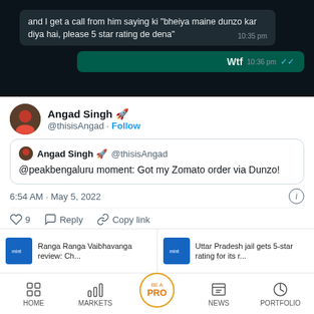[Figure (screenshot): WhatsApp chat screenshot showing dark background. One message bubble: 'and I get a call from him saying ki "bheiya maine dunzo kar diya hai, please 5 star rating de dena"' at 10:35 pm. Reply bubble: 'Wtf' at 10:36 pm with double blue ticks.]
Angad Singh 🚀 @thisisAngad · Follow
Angad Singh 🚀 @thisisAngad @peakbengaluru moment: Got my Zomato order via Dunzo!
6:54 AM · May 5, 2022
♡ 9   Reply   Copy link
Ranga Ranga Vaibhavanga review: Ch...
Uttar Pradesh jail gets 5-star rating for its r...
HOME   MARKETS   BE A PRO   NEWS   PORTFOLIO